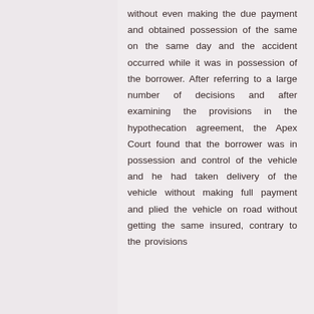without even making the due payment and obtained possession of the same on the same day and the accident occurred while it was in possession of the borrower. After referring to a large number of decisions and after examining the provisions in the hypothecation agreement, the Apex Court found that the borrower was in possession and control of the vehicle and he had taken delivery of the vehicle without making full payment and plied the vehicle on road without getting the same insured, contrary to the provisions